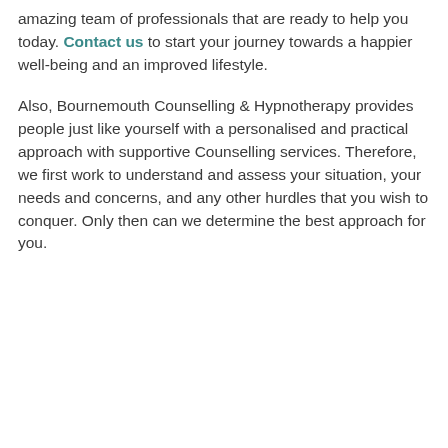amazing team of professionals that are ready to help you today. Contact us to start your journey towards a happier well-being and an improved lifestyle.
Also, Bournemouth Counselling & Hypnotherapy provides people just like yourself with a personalised and practical approach with supportive Counselling services. Therefore, we first work to understand and assess your situation, your needs and concerns, and any other hurdles that you wish to conquer. Only then can we determine the best approach for you.